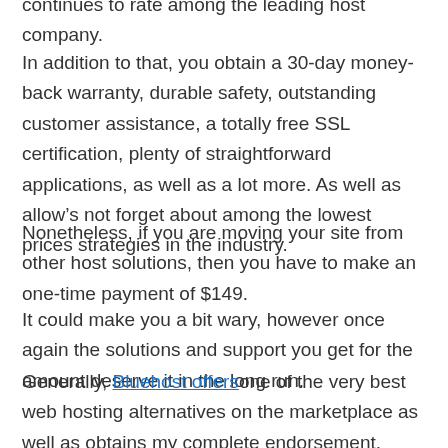continues to rate among the leading host company.
In addition to that, you obtain a 30-day money-back warranty, durable safety, outstanding customer assistance, a totally free SSL certification, plenty of straightforward applications, as well as a lot more. As well as allow’s not forget about among the lowest prices strategies in the industry.
Nonetheless, if you are moving your site from other host solutions, then you have to make an one-time payment of $149.
It could make you a bit wary, however once again the solutions and support you get for the amount deserve it in the long run.
Generally, Bluehost offers one of the very best web hosting alternatives on the marketplace as well as obtains my complete endorsement.
Get going with Bluehost today.